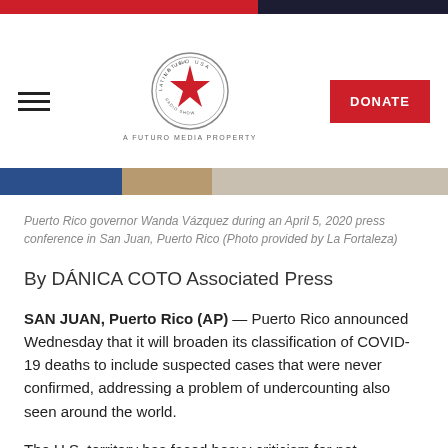Latino USA / A Futuro Media Property
[Figure (photo): Partial photo strip showing Puerto Rico governor Wanda Vázquez at a press conference]
Puerto Rico governor Wanda Vázquez during an April 5, 2020 press conference in San Juan, Puerto Rico (Photo provided by La Fortaleza)
By DÁNICA COTO Associated Press
SAN JUAN, Puerto Rico (AP) — Puerto Rico announced Wednesday that it will broaden its classification of COVID-19 deaths to include suspected cases that were never confirmed, addressing a problem of undercounting also seen around the world.
The U.S. territory has faced heavy criticism for not implementing widespread testing and for relying on limited data to implement a strict curfew and to produce estimates of when the